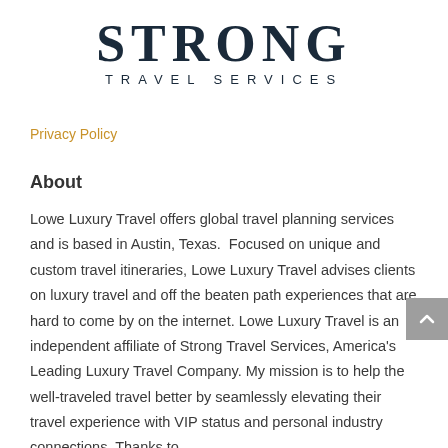[Figure (logo): Strong Travel Services logo with large bold STRONG text and TRAVEL SERVICES subtitle in dark navy]
Privacy Policy
About
Lowe Luxury Travel offers global travel planning services and is based in Austin, Texas.  Focused on unique and custom travel itineraries, Lowe Luxury Travel advises clients on luxury travel and off the beaten path experiences that are hard to come by on the internet. Lowe Luxury Travel is an independent affiliate of Strong Travel Services, America's Leading Luxury Travel Company. My mission is to help the well-traveled travel better by seamlessly elevating their travel experience with VIP status and personal industry connections. Thanks to